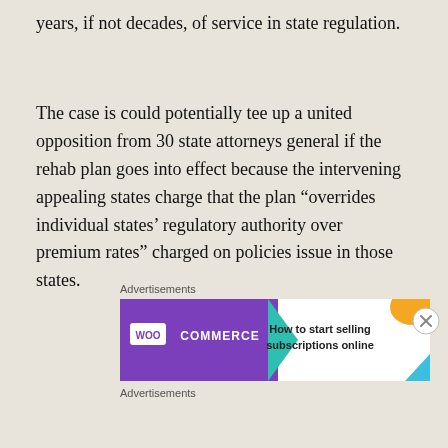years, if not decades, of service in state regulation.
The case is could potentially tee up a united opposition from 30 state attorneys general if the rehab plan goes into effect because the intervening appealing states charge that the plan “overrides individual states’ regulatory authority over premium rates” charged on policies issue in those states.
[Figure (other): WooCommerce advertisement banner: purple background with WOO COMMERCE logo and teal arrow shape on left, white right panel with text 'How to start selling subscriptions online' and orange/blue decorative shapes]
Advertisements